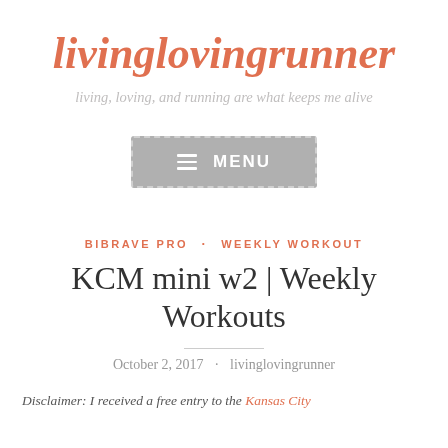livinglovingrunner
living, loving, and running are what keeps me alive
[Figure (other): Navigation menu button with hamburger icon and MENU text on grey background with dashed border]
BIBRAVE PRO · WEEKLY WORKOUT
KCM mini w2 | Weekly Workouts
October 2, 2017 · livinglovingrunner
Disclaimer: I received a free entry to the Kansas City